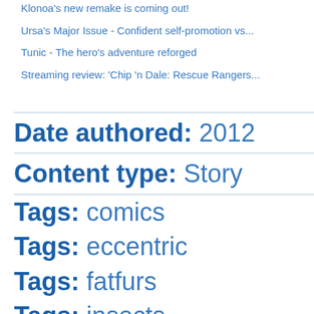Klonoa's new remake is coming out!
Ursa's Major Issue - Confident self-promotion vs...
Tunic - The hero's adventure reforged
Streaming review: 'Chip 'n Dale: Rescue Rangers...
Date authored: 2012
Content type: Story
Tags: comics
Tags: eccentric
Tags: fatfurs
Tags: insects